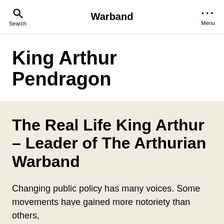Warband
King Arthur Pendragon
The Real Life King Arthur – Leader of The Arthurian Warband
Changing public policy has many voices. Some movements have gained more notoriety than others,